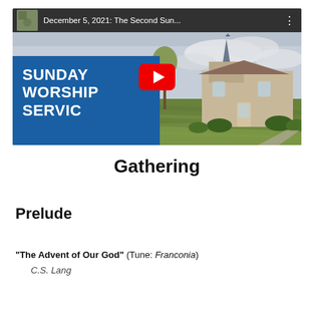[Figure (screenshot): YouTube video thumbnail showing 'December 5, 2021: The Second Sun...' with Sunday Worship Service text over a blue panel and a church building exterior photo. A red YouTube play button is overlaid in the center.]
Gathering
Prelude
“The Advent of Our God” (Tune: Franconia)
C.S. Lang